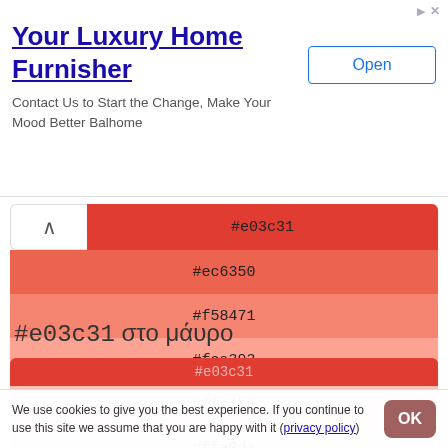[Figure (screenshot): Advertisement banner for 'Your Luxury Home Furnisher' with Open button]
[Figure (infographic): Color swatch palette showing shades from #e03c31 (dark red) to #ffe0da (light pink), with hex codes labeled on each swatch, and #ffffff / #fff shown below]
#ffffff / #fff
#e03c31 στο μάυρο
[Figure (infographic): Partial color swatch at bottom showing #e03c31]
We use cookies to give you the best experience. If you continue to use this site we assume that you are happy with it (privacy policy)